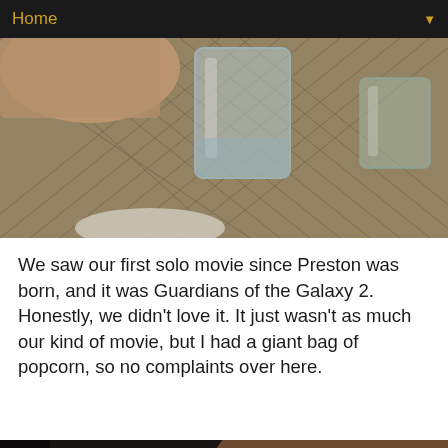Home
[Figure (photo): Close-up photo of a hand holding a glass of water on a mesh patio table with other glassware in the background]
We saw our first solo movie since Preston was born, and it was Guardians of the Galaxy 2. Honestly, we didn't love it. It just wasn't as much our kind of movie, but I had a giant bag of popcorn, so no complaints over here.
[Figure (photo): Selfie of a couple in a dark movie theater — man with sunglasses on his head on the left, woman on the right]